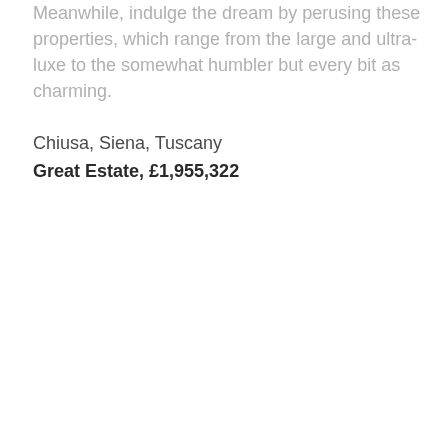Meanwhile, indulge the dream by perusing these properties, which range from the large and ultra-luxe to the somewhat humbler but every bit as charming.
Chiusa, Siena, Tuscany
Great Estate, £1,955,322